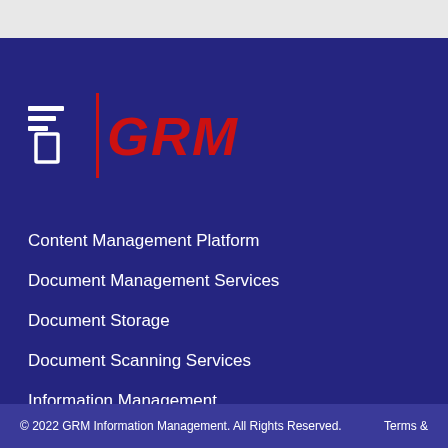[Figure (logo): GRM Information Management logo with stylized document icon and red GRM text]
Content Management Platform
Document Management Services
Document Storage
Document Scanning Services
Information Management
Contact Us
© 2022 GRM Information Management. All Rights Reserved.    Terms &